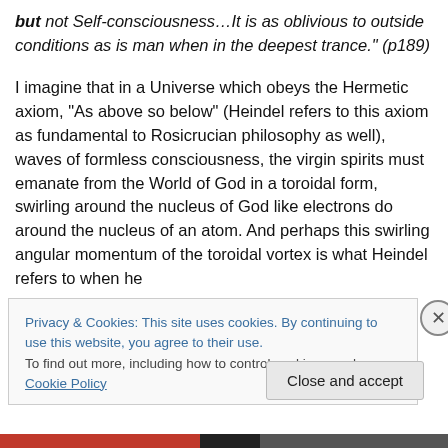but not Self-consciousness…It is as oblivious to outside conditions as is man when in the deepest trance." (p189)
I imagine that in a Universe which obeys the Hermetic axiom, “As above so below” (Heindel refers to this axiom as fundamental to Rosicrucian philosophy as well), waves of formless consciousness, the virgin spirits must emanate from the World of God in a toroidal form, swirling around the nucleus of God like electrons do around the nucleus of an atom. And perhaps this swirling angular momentum of the toroidal vortex is what Heindel refers to when he
Privacy & Cookies: This site uses cookies. By continuing to use this website, you agree to their use.
To find out more, including how to control cookies, see here: Cookie Policy
Close and accept